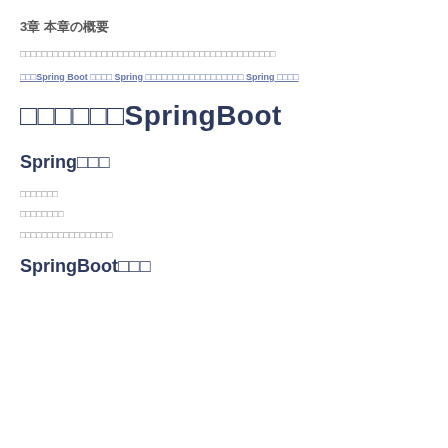3章 本章の概要
□□□□□□□□□□□□□□□□□□□□□□□□□□□□□□□□□□□□□□□□□□□□□□□
□□□Spring Boot □□□□ Spring □□□□□□□□□□□□□□□□□□ Spring □□□□
□□□□□□SpringBoot
Spring□□□
□□□□□□□
□□□□□□□□
□□□□□□□□□□□□□□□□□
SpringBoot□□□